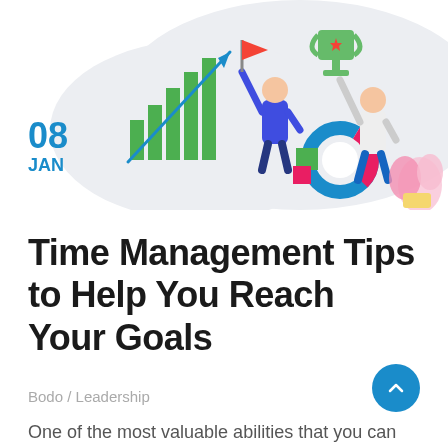[Figure (illustration): Blog header illustration showing two people celebrating with a flag and trophy, a bar chart with arrow, and a donut chart — representing goal achievement and leadership. Light grey cloud/blob background shape.]
08
JAN
Time Management Tips to Help You Reach Your Goals
Bodo / Leadership
One of the most valuable abilities that you can